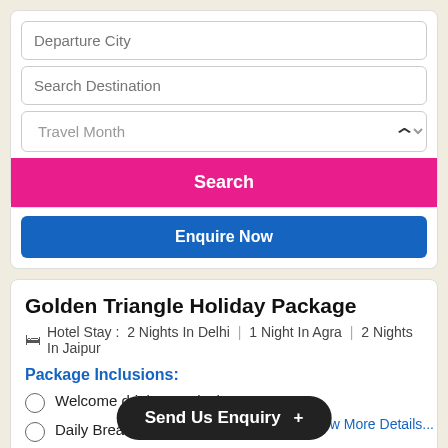Departure City
Search Destination
Travel Month
Search
Enquire Now
Golden Triangle Holiday Package
Hotel Stay : 2 Nights In Delhi | 1 Night In Agra | 2 Nights In Jaipur
Package Inclusions:
Welcome drink on arrival
Daily Breakfast and Dinner
2 Nights accommodation in Delhi
1 Night accommodation in Agra
2 Nights accommodation...
Send Us Enquiry +
View More Details...